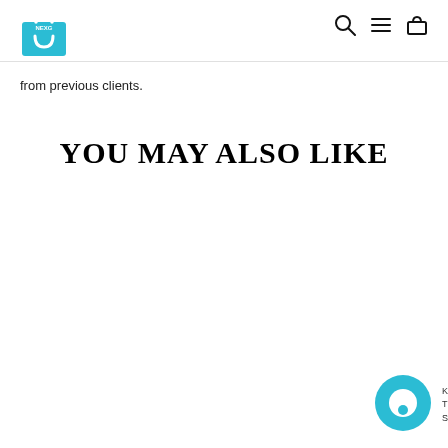[Figure (logo): NexG teal shopping bag logo in top left corner]
[Figure (other): Navigation icons: search (magnifying glass), hamburger menu, shopping bag — in top right corner]
from previous clients.
YOU MAY ALSO LIKE
[Figure (other): Teal circular chat bubble widget icon in bottom right with partial text: K, T, S]